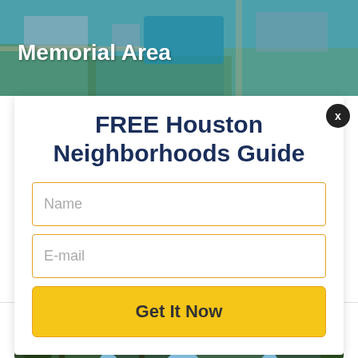[Figure (photo): Aerial view of Memorial Area neighborhood with pool and green spaces visible]
Memorial Area
FREE Houston Neighborhoods Guide
Name
E-mail
Get It Now
[Figure (photo): Outdoor scene with large trees against a sunset sky with pink and blue hues]